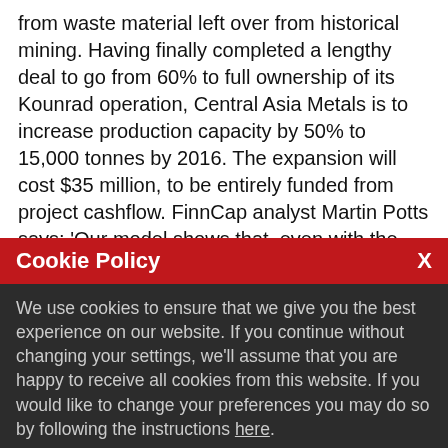from waste material left over from historical mining. Having finally completed a lengthy deal to go from 60% to full ownership of its Kounrad operation, Central Asia Metals is to increase production capacity by 50% to 15,000 tonnes by 2016. The expansion will cost $35 million, to be entirely funded from project cashflow. FinnCap analyst Martin Potts says: 'Our model shows that, even with the need to fund the expansion, the operation is sufficiently cash generative to meet the
Cookie Policy
We use cookies to ensure that we give you the best experience on our website. If you continue without changing your settings, we'll assume that you are happy to receive all cookies from this website. If you would like to change your preferences you may do so by following the instructions here.